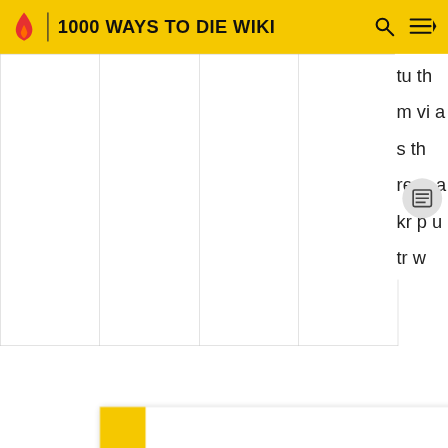1000 WAYS TO DIE WIKI
|  |  |  |  |
tu
th
m
vi
a
s
th
re
w
a
kr
p
u
tr
w
[Figure (screenshot): Watermelon survey popup with yellow tab and survey image. Text: Watermelon survey … What do you think about Harry Styles? TAKE THE SURVEY HERE]
[Figure (photo): Orphan: First Kill movie advertisement banner for Paramount+ streaming service. Text: Movie, Orphan First Kill, STREAMING ON Paramount+, TRY IT FREE]